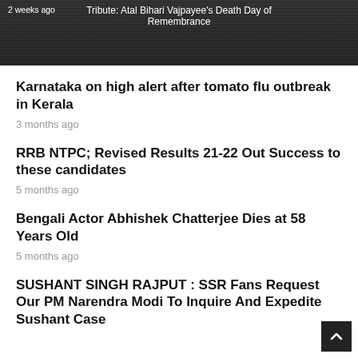[Figure (photo): Dark background image with text overlay showing '2 weeks ago' and 'Tribute: Atal Bihari Vajpayee's Death Day of Remembrance']
Karnataka on high alert after tomato flu outbreak in Kerala
3 months ago
RRB NTPC; Revised Results 21-22 Out Success to these candidates
5 months ago
Bengali Actor Abhishek Chatterjee Dies at 58 Years Old
5 months ago
SUSHANT SINGH RAJPUT : SSR Fans Request Our PM Narendra Modi To Inquire And Expedite Sushant Case